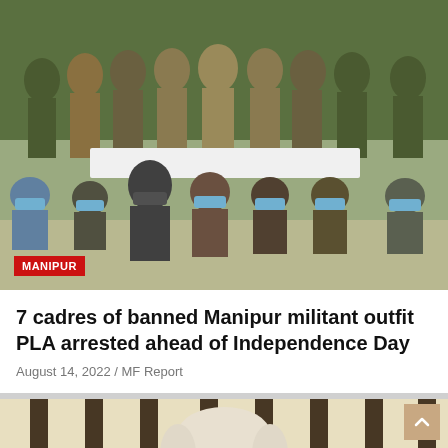[Figure (photo): Group photo of security forces in camouflage and khaki uniforms standing behind seven arrested individuals wearing face masks, crouching in a row. MANIPUR badge overlay in red at bottom-left of image.]
7 cadres of banned Manipur militant outfit PLA arrested ahead of Independence Day
August 14, 2022 / MF Report
[Figure (photo): Partial photo of an elderly man with white hair and white mustache, seen from shoulders up, in front of a striped background of cream and dark brown vertical stripes.]